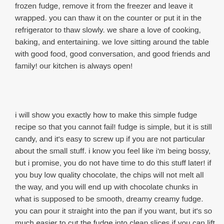frozen fudge, remove it from the freezer and leave it wrapped. you can thaw it on the counter or put it in the refrigerator to thaw slowly. we share a love of cooking, baking, and entertaining. we love sitting around the table with good food, good conversation, and good friends and family! our kitchen is always open!
i will show you exactly how to make this simple fudge recipe so that you cannot fail! fudge is simple, but it is still candy, and it's easy to screw up if you are not particular about the small stuff. i know you feel like i'm being bossy, but i promise, you do not have time to do this stuff later! if you buy low quality chocolate, the chips will not melt all the way, and you will end up with chocolate chunks in what is supposed to be smooth, dreamy creamy fudge. you can pour it straight into the pan if you want, but it's so much easier to cut the fudge into clean slices if you can lift it out of the pan with paper. if you cook it to a higher temperature, your fudge will turn out